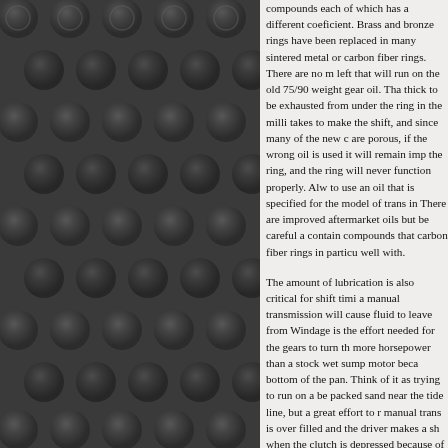[Figure (photo): Dark grey textured background panel with embossed circular/diamond pattern, occupying the left portion of the page.]
compounds each of which has a different coeficient. Brass and bronze rings have been replaced in many sintered metal or carbon fiber rings. There are no m left that will run on the old 75/90 weight gear oil. Tha thick to be exhausted from under the ring in the milli takes to make the shift, and since many of the new c are porous, if the wrong oil is used it will remain imp the ring, and the ring will never function properly. Alw to use an oil that is specified for the model of trans in There are improved aftermarket oils but be careful a contain compounds that carbon fiber rings in particu well with.
The amount of lubrication is also critical for shift timi a manual transmission will cause fluid to leave from Windage is the effort needed for the gears to turn th more horsepower than a stock wet sump motor beca bottom of the pan. Think of it as trying to run on a be packed sand near the tide line, but a great effort to r manual trans is over filled and the driver makes a sh when the clutch is depressed because of the fluid dr shift issues. A classic case of this was the Tremec 3 fill plug was actually designed too high in the case. O inch below the fill plug level for proper operation.
An area that creates more transmission issues is the shifter" into a manual trans equipped vehicle. The sh movement in the stock shifter making the shifts happ throw shifters on the market and they do improve th understand that the time it takes to shift is predicate the shift without gear clash. When you shorten the th be moving the stick faster than the clutch can fully re complete the function of matching the input shaft sp